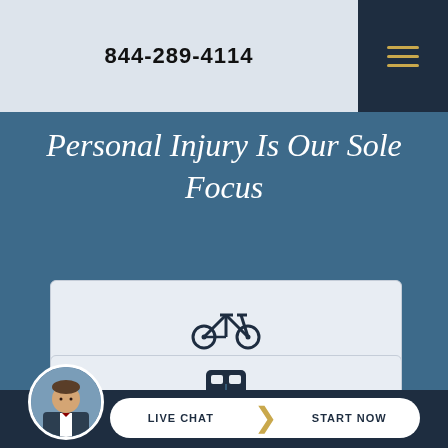844-289-4114
Personal Injury Is Our Sole Focus
[Figure (illustration): Bicycle icon representing bicycle accident practice area]
BICYCLE ACCIDENTS
[Figure (illustration): Bus/transit icon representing another practice area]
[Figure (photo): Portrait photo of a man in a suit (attorney) in a circular avatar]
LIVE CHAT   START NOW